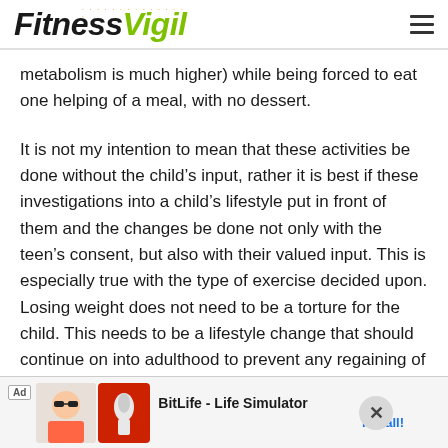FitnessVigil
metabolism is much higher) while being forced to eat one helping of a meal, with no dessert.
It is not my intention to mean that these activities be done without the child’s input, rather it is best if these investigations into a child’s lifestyle put in front of them and the changes be done not only with the teen’s consent, but also with their valued input. This is especially true with the type of exercise decided upon. Losing weight does not need to be a torture for the child. This needs to be a lifestyle change that should continue on into adulthood to prevent any regaining of
[Figure (other): Advertisement banner: BitLife - Life Simulator with Install button]